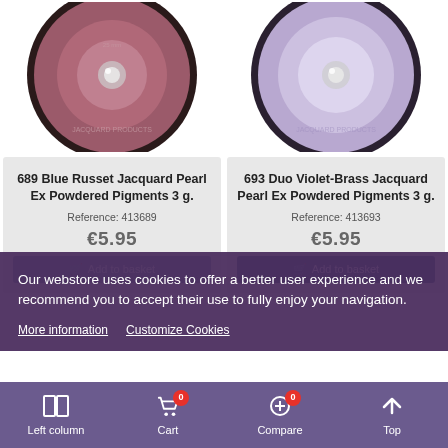[Figure (photo): Two product color disc images: left is a dark reddish-mauve disc (Blue Russet), right is a light lavender/violet disc (Duo Violet-Brass). Both appear to be pigment powder sample discs in circular containers.]
689 Blue Russet Jacquard Pearl Ex Powdered Pigments 3 g.
Reference: 413689
693 Duo Violet-Brass Jacquard Pearl Ex Powdered Pigments 3 g.
Reference: 413693
Our webstore uses cookies to offer a better user experience and we recommend you to accept their use to fully enjoy your navigation.
More information
Customize Cookies
Left column   Cart 0   Compare 0   Top